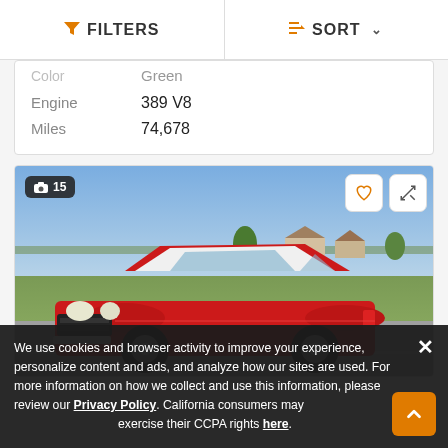FILTERS   SORT
| Color | Green |
| Engine | 389 V8 |
| Miles | 74,678 |
[Figure (photo): Classic red car with white roof parked outdoors, front 3/4 view, showing 15 photos badge and favorite/compare buttons]
We use cookies and browser activity to improve your experience, personalize content and ads, and analyze how our sites are used. For more information on how we collect and use this information, please review our Privacy Policy. California consumers may exercise their CCPA rights here.